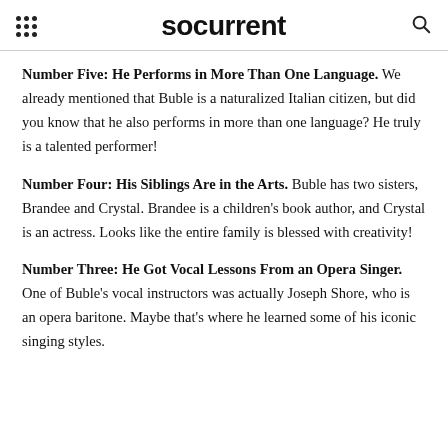socurrent
Number Five: He Performs in More Than One Language. We already mentioned that Buble is a naturalized Italian citizen, but did you know that he also performs in more than one language? He truly is a talented performer!
Number Four: His Siblings Are in the Arts. Buble has two sisters, Brandee and Crystal. Brandee is a children's book author, and Crystal is an actress. Looks like the entire family is blessed with creativity!
Number Three: He Got Vocal Lessons From an Opera Singer. One of Buble's vocal instructors was actually Joseph Shore, who is an opera baritone. Maybe that's where he learned some of his iconic singing styles.